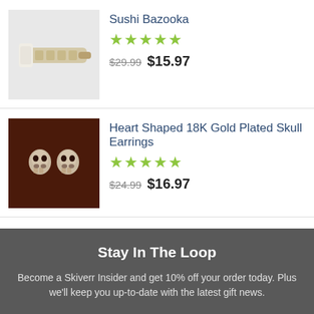[Figure (photo): Sushi Bazooka product image on light background]
Sushi Bazooka
★★★★★
$29.99  $15.97
[Figure (photo): Heart Shaped 18K Gold Plated Skull Earrings on dark red background]
Heart Shaped 18K Gold Plated Skull Earrings
★★★★★
$24.99  $16.97
[Figure (photo): Nurse's Pocket Watch product image]
★ FREE ★ Nurse's Pocket Watch
$12.99  $0.00
Stay In The Loop
Become a Skiverr Insider and get 10% off your order today. Plus we'll keep you up-to-date with the latest gift news.